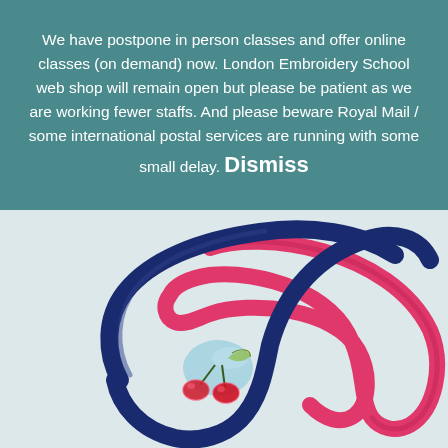We have postpone in person classes and offer online classes (on demand) now. London Embroidery School web shop will remain open but please be patient as we are working fewer staffs. And please beware Royal Mail / some international postal services are running with some small delay. Dismiss
[Figure (photo): Two hair headbands on a light blue-white background. One headband is navy blue with an embroidered cherry/strawberry decoration in light blue felt with red beaded berries. The second headband is hot pink/magenta without decoration. The two headbands are overlapping each other.]